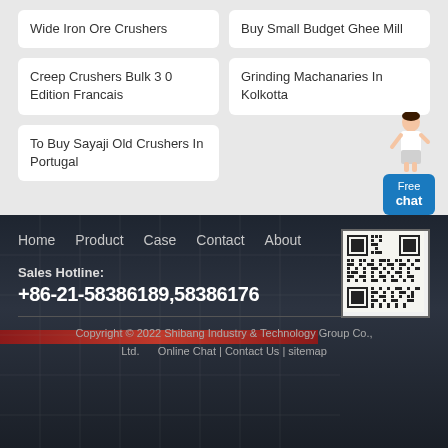Wide Iron Ore Crushers
Buy Small Budget Ghee Mill
Creep Crushers Bulk 3 0 Edition Francais
Grinding Machanaries In Kolkotta
To Buy Sayaji Old Crushers In Portugal
[Figure (illustration): Woman character with Free chat bubble]
Home   Product   Case   Contact   About
[Figure (other): QR code image]
Sales Hotline:
+86-21-58386189,58386176
Copyright © 2022 Shibang Industry & Technology Group Co., Ltd.   Online Chat | Contact Us | sitemap